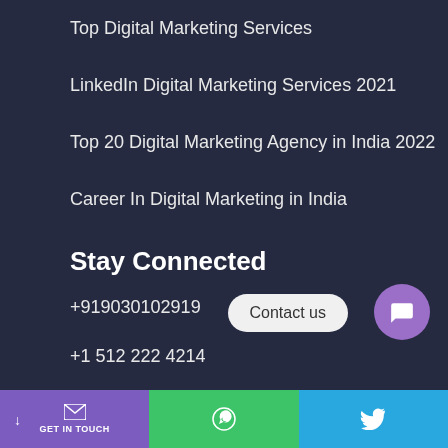Top Digital Marketing Services
LinkedIn Digital Marketing Services 2021
Top 20 Digital Marketing Agency in India 2022
Career In Digital Marketing in India
Stay Connected
+919030102919
+1 512 222 4214
[Figure (infographic): Contact us chat bubble and purple chat icon circle in bottom right area]
GET IN TOUCH | WhatsApp icon | Twitter icon